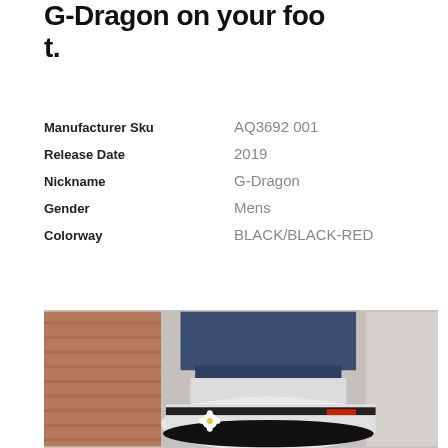G-Dragon on your foot.
| Field | Value |
| --- | --- |
| Manufacturer Sku | AQ3692 001 |
| Release Date | 2019 |
| Nickname | G-Dragon |
| Gender | Mens |
| Colorway | BLACK/BLACK-RED |
[Figure (photo): Photo of G-Dragon sneaker worn on foot, showing the shoe from ankle-down perspective with rolled jeans. Brick wall background visible.]